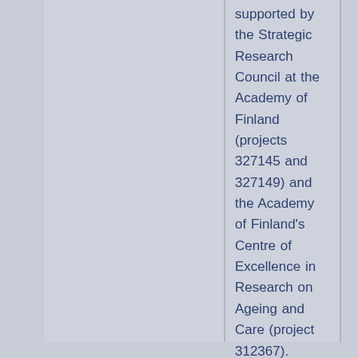supported by the Strategic Research Council at the Academy of Finland (projects 327145 and 327149) and the Academy of Finland's Centre of Excellence in Research on Ageing and Care (project 312367).